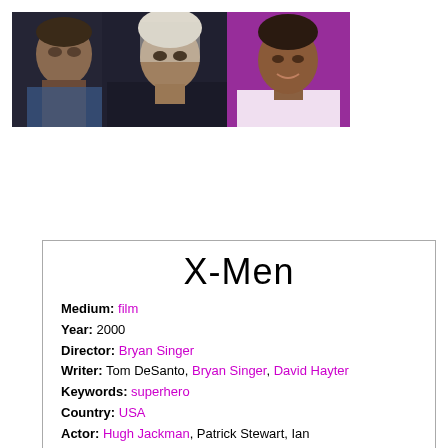[Figure (photo): Two-panel photo strip: left panel shows two actors (a man and a woman) against a dark background; right panel shows a woman smiling against a purple background.]
X-Men
Medium: film
Year: 2000
Director: Bryan Singer
Writer: Tom DeSanto, Bryan Singer, David Hayter
Keywords: superhero
Country: USA
Actor: Hugh Jackman, Patrick Stewart, Ian...